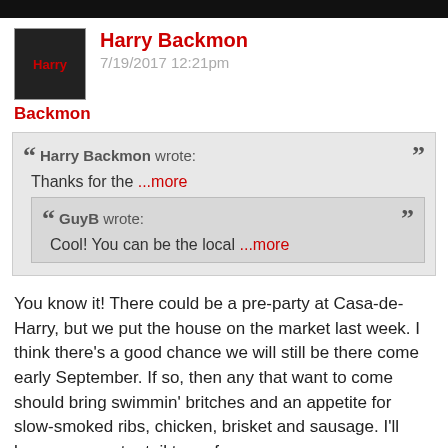Harry Backmon
7/19/2017 12:21pm
Harry Backmon wrote: Thanks for the ...more
GuyB wrote: Cool! You can be the local ...more
You know it! There could be a pre-party at Casa-de-Harry, but we put the house on the market last week. I think there's a good chance we will still be there come early September. If so, then any that want to come should bring swimmin' britches and an appetite for slow-smoked ribs, chicken, brisket and sausage. I'll have some gator tail too, of course.
Quote
JRT812